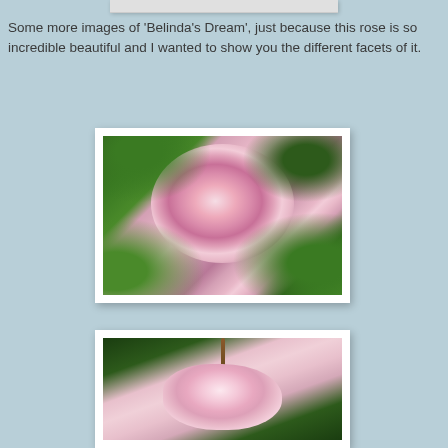[Figure (photo): Partial top edge of a photo frame visible at top of page]
Some more images of 'Belinda's Dream', just because this rose is so incredible beautiful and I wanted to show you the different facets of it.
[Figure (photo): Close-up photograph of a pink Belinda's Dream rose bloom against green foliage background]
[Figure (photo): Photograph of a pink Belinda's Dream rose partially open, with stem visible against green foliage, partially cut off at bottom of page]